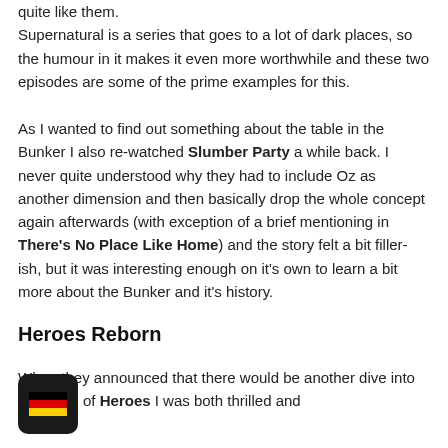quite like them.
Supernatural is a series that goes to a lot of dark places, so the humour in it makes it even more worthwhile and these two episodes are some of the prime examples for this.
As I wanted to find out something about the table in the Bunker I also re-watched Slumber Party a while back. I never quite understood why they had to include Oz as another dimension and then basically drop the whole concept again afterwards (with exception of a brief mentioning in There's No Place Like Home) and the story felt a bit filler-ish, but it was interesting enough on it's own to learn a bit more about the Bunker and it's history.
Heroes Reborn
When they announced that there would be another dive into the world of Heroes I was both thrilled and
[Figure (illustration): A small rounded dark square badge showing the German flag (black, red, gold horizontal stripes) in the bottom-left corner of the page.]